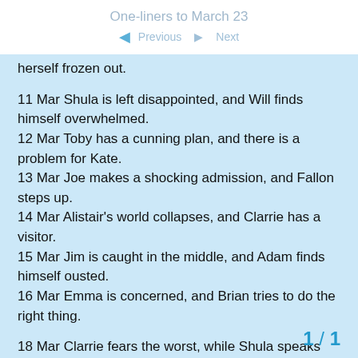One-liners to March 23
herself frozen out.

11 Mar Shula is left disappointed, and Will finds himself overwhelmed.
12 Mar Toby has a cunning plan, and there is a problem for Kate.
13 Mar Joe makes a shocking admission, and Fallon steps up.
14 Mar Alistair's world collapses, and Clarrie has a visitor.
15 Mar Jim is caught in the middle, and Adam finds himself ousted.
16 Mar Emma is concerned, and Brian tries to do the right thing.

18 Mar Clarrie fears the worst, while Shula speaks from experience.
19 Mar Justin calls in a favour, and Pat is offended.
20 Mar Alice goes too far, and Will attempts a brave face.
21 Mar Alistair fails to make sense of recent events, while Chris tries to do the right thing.
22 Mar Ruth hears some interesting news,
to forgive.
1 / 1